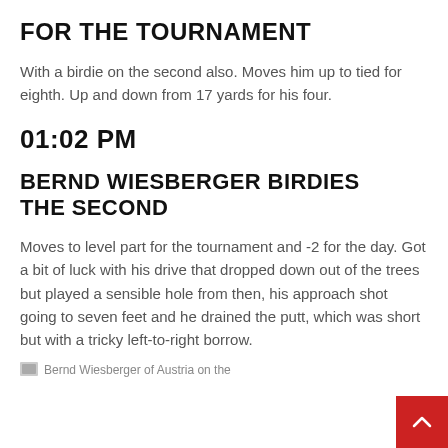FOR THE TOURNAMENT
With a birdie on the second also. Moves him up to tied for eighth. Up and down from 17 yards for his four.
01:02 PM
BERND WIESBERGER BIRDIES THE SECOND
Moves to level part for the tournament and -2 for the day. Got a bit of luck with his drive that dropped down out of the trees but played a sensible hole from then, his approach shot going to seven feet and he drained the putt, which was short but with a tricky left-to-right borrow.
Bernd Wiesberger of Austria on the